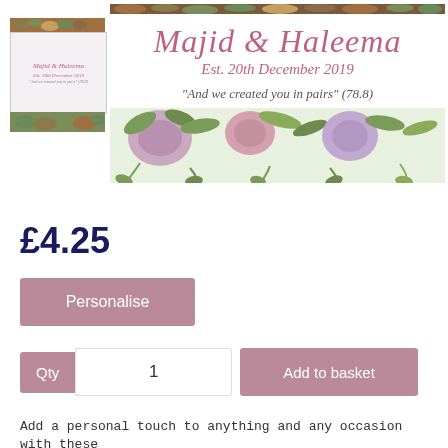[Figure (illustration): Wedding sticker product image showing 'Majid & Haleema Est. 20th December 2019' with floral decorations. A thumbnail version appears top-left and a larger banner version to the right with flower arrangements top and bottom.]
£4.25
Personalise
Qty  1   Add to basket
Add a personal touch to anything and any occasion with these